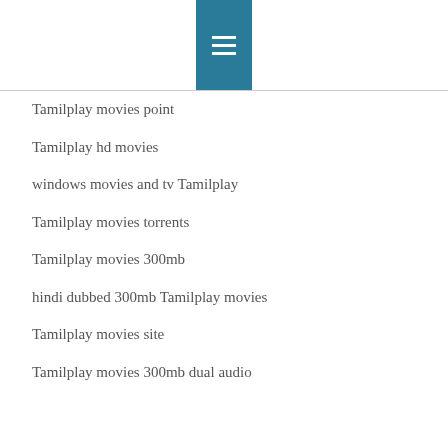≡
Tamilplay movies point
Tamilplay hd movies
windows movies and tv Tamilplay
Tamilplay movies torrents
Tamilplay movies 300mb
hindi dubbed 300mb Tamilplay movies
Tamilplay movies site
Tamilplay movies 300mb dual audio